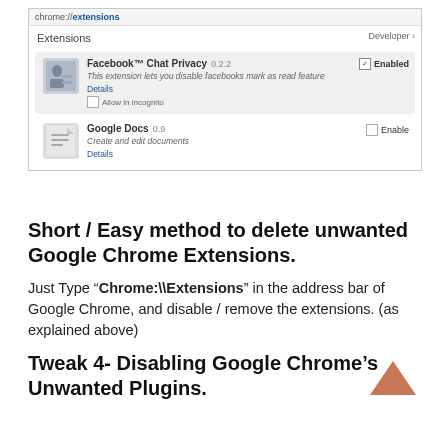[Figure (screenshot): Chrome Extensions settings page screenshot showing chrome://extensions address bar, with Facebook Chat Privacy extension (0.2.2) enabled and Google Docs extension (0.9) disabled, and an orange arrow pointing to the Developer mode area]
Short / Easy method to delete unwanted Google Chrome Extensions.
Just Type “Chrome:\\Extensions” in the address bar of Google Chrome, and disable / remove the extensions. (as explained above)
Tweak 4- Disabling Google Chrome’s Unwanted Plugins.